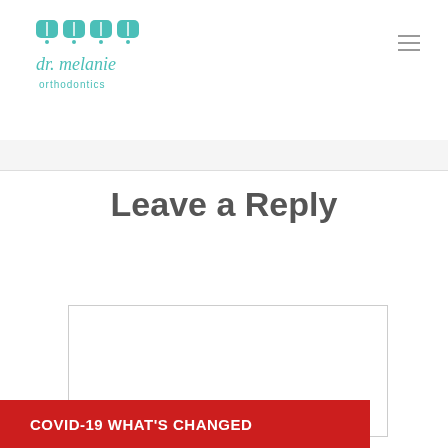[Figure (logo): Dr. Melanie Orthodontics logo with teal tooth icons and teal text reading 'dr. melanie orthodontics']
Leave a Reply
[Figure (other): Empty comment text area input box]
COVID-19 WHAT'S CHANGED